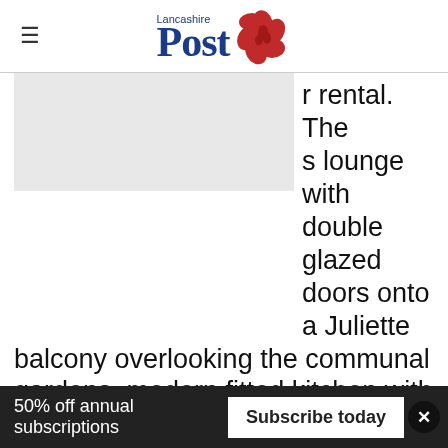Lancashire Post
rental. The s lounge with double glazed doors onto a Juliette balcony overlooking the communal gardens, modern fitted kitchen with a range of base and wall units, two good sized bedrooms and a shower room with a three piece suite. Externally there are communal gardens and parking.Farrell Heyworth, 01772 203345£45,000View the full listing here
50% off annual subscriptions  Subscribe today